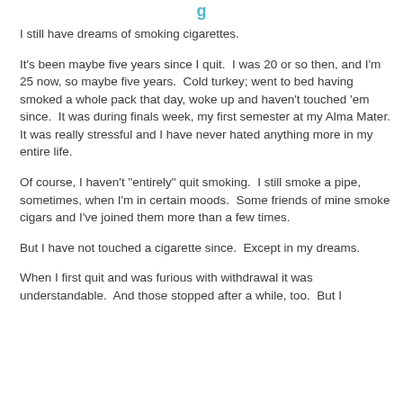g
I still have dreams of smoking cigarettes.
It's been maybe five years since I quit.  I was 20 or so then, and I'm 25 now, so maybe five years.  Cold turkey; went to bed having smoked a whole pack that day, woke up and haven't touched 'em since.  It was during finals week, my first semester at my Alma Mater.  It was really stressful and I have never hated anything more in my entire life.
Of course, I haven't "entirely" quit smoking.  I still smoke a pipe, sometimes, when I'm in certain moods.  Some friends of mine smoke cigars and I've joined them more than a few times.
But I have not touched a cigarette since.  Except in my dreams.
When I first quit and was furious with withdrawal it was understandable.  And those stopped after a while, too.  But I